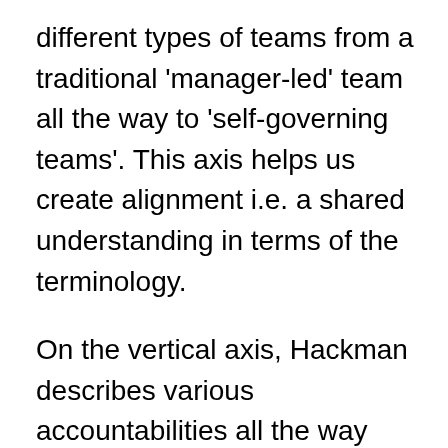different types of teams from a traditional 'manager-led' team all the way to 'self-governing teams'. This axis helps us create alignment i.e. a shared understanding in terms of the terminology.
On the vertical axis, Hackman describes various accountabilities all the way from 'execute team tasks' to 'set overall direction'. This axis gives us an overview of and again alignment on the different levels of existing tasks.
These two axis combined and with the color coding in the matrix, we can clearly see that any type of team has certain accountabilities hence